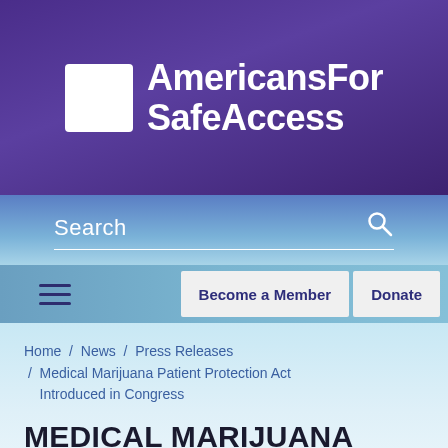[Figure (logo): Americans For Safe Access logo — white hexagon molecule icon beside bold white text 'AmericansFor SafeAccess' on a purple gradient background]
Search
Become a Member    Donate
Home / News / Press Releases / Medical Marijuana Patient Protection Act Introduced in Congress
MEDICAL MARIJUANA PATIENT PROTECTION ACT INTRODUCED IN CONGRESS
POSTED BY AMERICANS FOR SAFE ACCESS ON APRIL 18, 2008